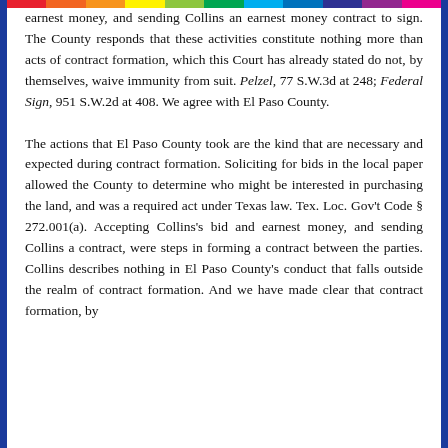earnest money, and sending Collins an earnest money contract to sign. The County responds that these activities constitute nothing more than acts of contract formation, which this Court has already stated do not, by themselves, waive immunity from suit. Pelzel, 77 S.W.3d at 248; Federal Sign, 951 S.W.2d at 408. We agree with El Paso County.

The actions that El Paso County took are the kind that are necessary and expected during contract formation. Soliciting for bids in the local paper allowed the County to determine who might be interested in purchasing the land, and was a required act under Texas law. Tex. Loc. Gov't Code § 272.001(a). Accepting Collins's bid and earnest money, and sending Collins a contract, were steps in forming a contract between the parties. Collins describes nothing in El Paso County's conduct that falls outside the realm of contract formation. And we have made clear that contract formation, by